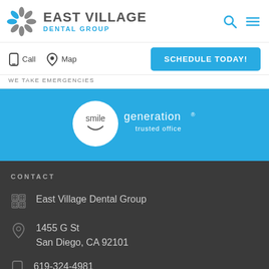[Figure (logo): East Village Dental Group logo with starburst/snowflake icon in gray and blue, text EAST VILLAGE in gray bold uppercase and DENTAL GROUP in blue uppercase below]
[Figure (other): Search icon (magnifying glass) and hamburger menu icon in blue in the top-right header]
[Figure (other): Phone icon with Call label and Map pin icon with Map label in the nav bar]
WE TAKE EMERGENCIES
SCHEDULE TODAY!
[Figure (logo): Smile Generation trusted office logo: white circle with 'smile' text in gray and 'generation' in blue with registered mark, 'trusted office' below in blue]
CONTACT
East Village Dental Group
1455 G St
San Diego, CA 92101
619-324-4981